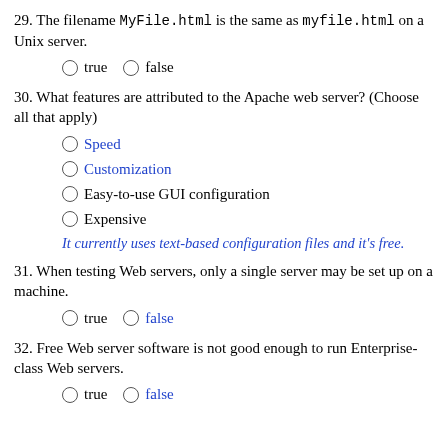29. The filename MyFile.html is the same as myfile.html on a Unix server.
○ true  ○ false
30. What features are attributed to the Apache web server? (Choose all that apply)
○ Speed
○ Customization
○ Easy-to-use GUI configuration
○ Expensive
It currently uses text-based configuration files and it's free.
31. When testing Web servers, only a single server may be set up on a machine.
○ true  ○ false
32. Free Web server software is not good enough to run Enterprise-class Web servers.
○ true  ○ false